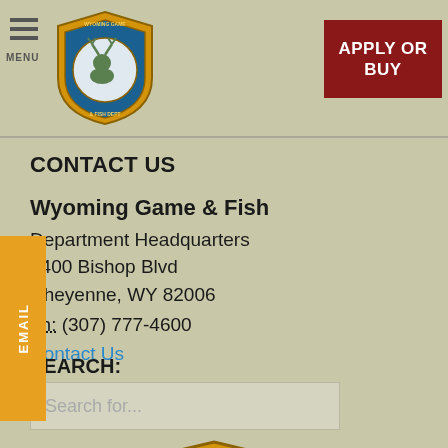MENU | Wyoming Game & Fish Department Logo | APPLY OR BUY
CONTACT US
Wyoming Game & Fish
Department Headquarters
5400 Bishop Blvd
Cheyenne, WY 82006
ph: (307) 777-4600
Contact Us
SEARCH:
Search for...
[Figure (logo): Wyoming Game & Fish Department badge/shield logo at bottom of page]